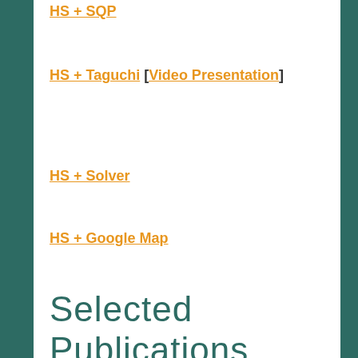HS + SQP
HS + Taguchi [Video Presentation]
HS + Solver
HS + Google Map
Selected Publications (Real-World / OR Applications)
Project Scheduling